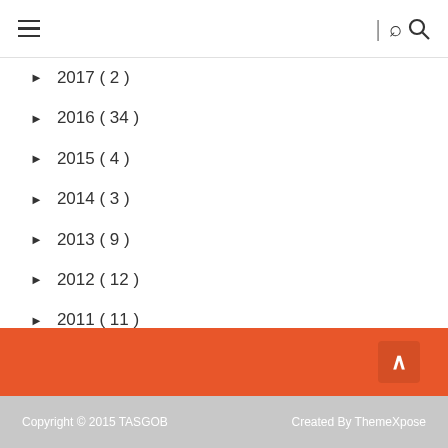Navigation bar with hamburger menu and search icon
► 2017 ( 2 )
► 2016 ( 34 )
► 2015 ( 4 )
► 2014 ( 3 )
► 2013 ( 9 )
► 2012 ( 12 )
► 2011 ( 11 )
► 2005 ( 1 )
▼ 2001 ( 1 )
Copyright © 2015 TASGOB    Created By ThemeXpose